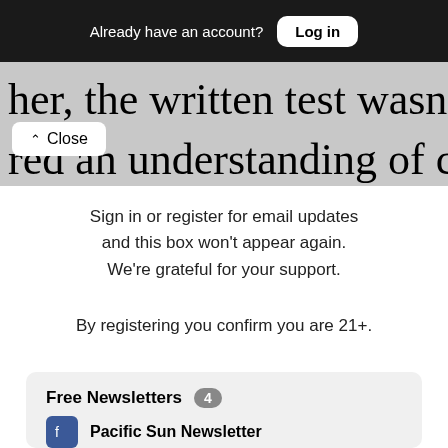Already have an account? Log in
her, the written test wasn't easy. It
red an understanding of car
Close
Sign in or register for email updates and this box won't appear again. We're grateful for your support.
By registering you confirm you are 21+.
Free Newsletters 4
Pacific Sun Newsletter